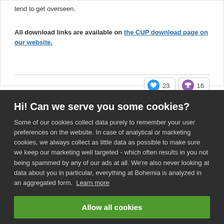tend to get overseen.
All download links are available on the CUP download page on our website.
Hi! Can we serve you some cookies?
Some of our cookies collect data purely to remember your user preferences on the website. In case of analytical or marketing cookies, we always collect as little data as possible to make sure we keep our marketing well targeted - which often results in you not being spammed by any of our ads at all. We're also never looking at data about you in particular, everything at Bohemia is analyzed in an aggregated form. Learn more
Allow all cookies
I want more options